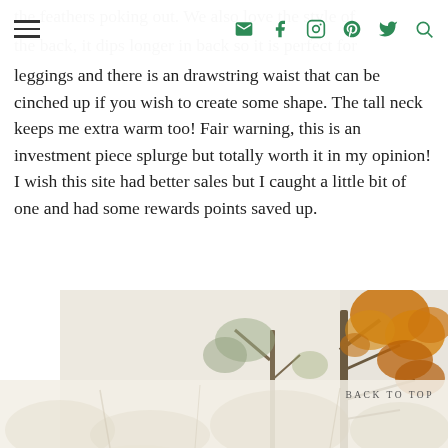the feathers poking out.  We also love the style of the back, it dips longer in back so it is perfect for
leggings and there is an drawstring waist that can be cinched up if you wish to create some shape. The tall neck keeps me extra warm too!  Fair warning, this is an investment piece splurge but totally worth it in my opinion!   I wish this site had better sales but I caught a little bit of one and had some rewards points saved up.
[Figure (photo): Autumn trees with orange and yellow foliage against a light sky, photographed from below looking up. A second faded autumn foliage scene appears at the bottom of the page.]
BACK TO TOP